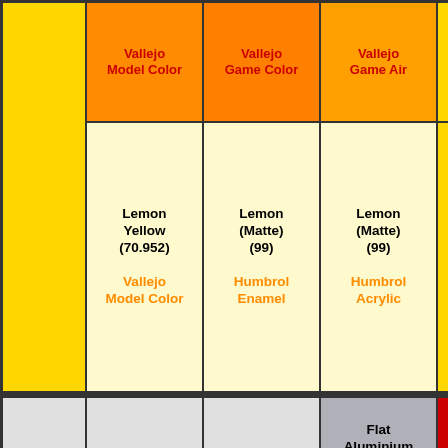| (color swatch) | Vallejo Model Color | Vallejo Game Color | Vallejo Game Air | (more) |
| --- | --- | --- | --- | --- |
| (yellow) | Lemon Yellow (70.952) Vallejo Model Color | Lemon (Matte) (99) Humbrol Enamel | Lemon (Matte) (99) Humbrol Acrylic |  |
| (silver) | Silver (H8) Aqueous Hobby Color | Silver (S8) Mr. Color Spray | Flat Aluminium (XF16) Tamiya Color Acrylic Paints (Flat) |  |
| (silver) | Silver (solid metallic) (36190) | silver (solid metallic) (36190) | Aluminum (F) (4677) Testors |  |